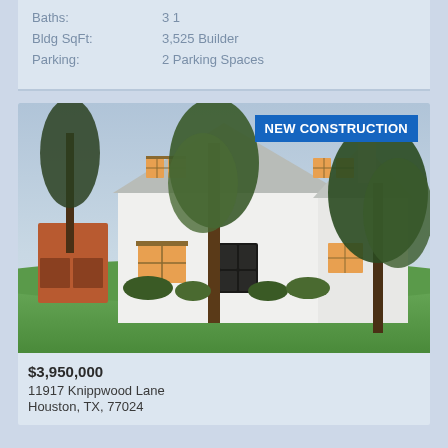Baths: 3 1
Bldg SqFt: 3,525 Builder
Parking: 2 Parking Spaces
[Figure (photo): New construction two-story white modern farmhouse with large trees, green lawn, and attached garage. Badge reads NEW CONSTRUCTION.]
$3,950,000
11917 Knippwood Lane
Houston, TX, 77024